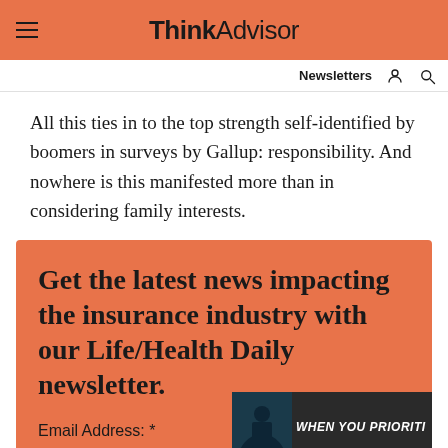ThinkAdvisor
Newsletters
All this ties in to the top strength self-identified by boomers in surveys by Gallup: responsibility. And nowhere is this manifested more than in considering family interests.
Get the latest news impacting the insurance industry with our Life/Health Daily newsletter.
Email Address: *